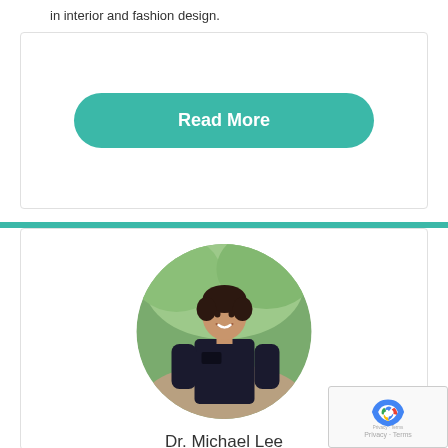in interior and fashion design.
Read More
[Figure (photo): Circular profile photo of Dr. Michael Lee, a man in black medical scrubs smiling outdoors with trees in the background]
Dr. Michael Lee